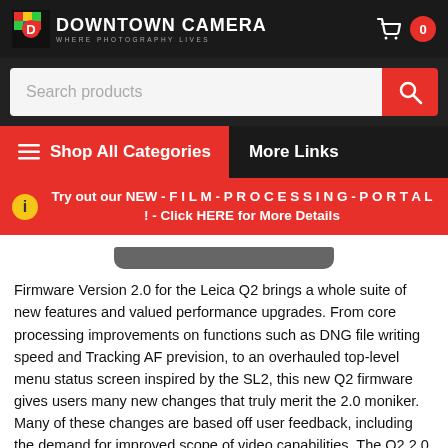Downtown Camera - WHERE PHOTOGRAPHY LIVES
[Figure (screenshot): Search products input bar with red search button]
[Figure (screenshot): Navigation bar with Shop All Categories and More Links]
[Figure (screenshot): Red promo bar: Try out our NEW - F I L M - P R O C E S S I N G - P O R T A L ! - Click HERE for More Details]
[Figure (photo): Partial product image of a camera at the bottom of the hero section]
Firmware Version 2.0 for the Leica Q2 brings a whole suite of new features and valued performance upgrades. From core processing improvements on functions such as DNG file writing speed and Tracking AF prevision, to an overhauled top-level menu status screen inspired by the SL2, this new Q2 firmware gives users many new changes that truly merit the 2.0 moniker. Many of these changes are based off user feedback, including the demand for improved scope of video capabilities. The Q2 2.0 update now allows users to fully control all aspects of exposure control during video – ISO, aperture